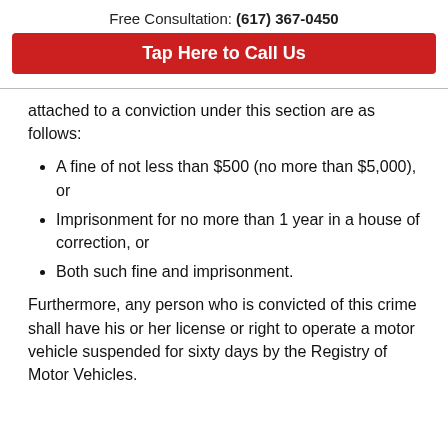Free Consultation: (617) 367-0450
Tap Here to Call Us
attached to a conviction under this section are as follows:
A fine of not less than $500 (no more than $5,000), or
Imprisonment for no more than 1 year in a house of correction, or
Both such fine and imprisonment.
Furthermore, any person who is convicted of this crime shall have his or her license or right to operate a motor vehicle suspended for sixty days by the Registry of Motor Vehicles.